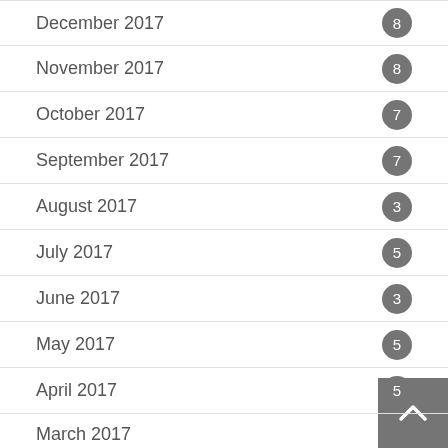December 2017 — 8
November 2017 — 8
October 2017 — 7
September 2017 — 7
August 2017 — 3
July 2017 — 5
June 2017 — 3
May 2017 — 5
April 2017 — 5
March 2017